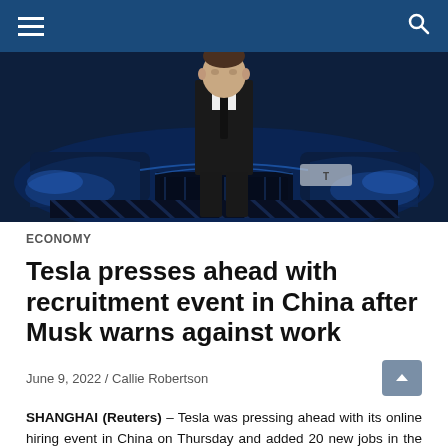Navigation bar with hamburger menu and search icon
[Figure (photo): Elon Musk in a dark suit standing in front of a large illuminated Tesla vehicle display backdrop with blue lighting]
ECONOMY
Tesla presses ahead with recruitment event in China after Musk warns against work
June 9, 2022 / Callie Robertson
SHANGHAI (Reuters) – Tesla was pressing ahead with its online hiring event in China on Thursday and added 20 new jobs in the country a week after Elon Musk threatened to cut